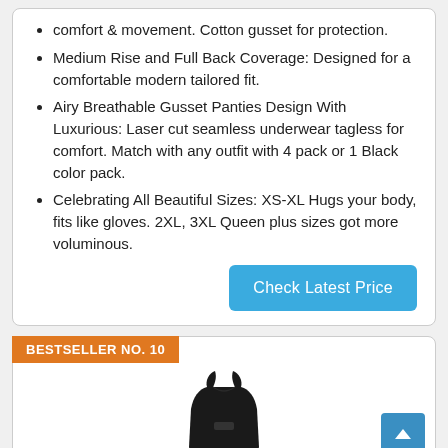comfort & movement. Cotton gusset for protection.
Medium Rise and Full Back Coverage: Designed for a comfortable modern tailored fit.
Airy Breathable Gusset Panties Design With Luxurious: Laser cut seamless underwear tagless for comfort. Match with any outfit with 4 pack or 1 Black color pack.
Celebrating All Beautiful Sizes: XS-XL Hugs your body, fits like gloves. 2XL, 3XL Queen plus sizes got more voluminous.
Check Latest Price
BESTSELLER NO. 10
[Figure (photo): Black women's swimsuit/athletic top on a white background]